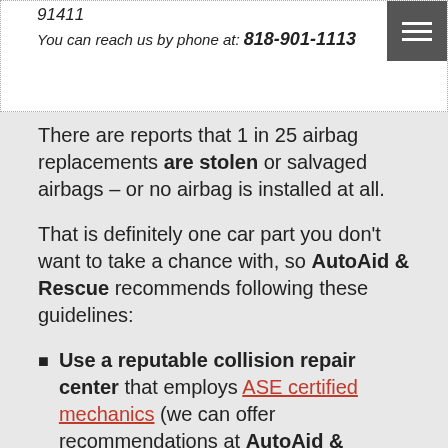91411
You can reach us by phone at: 818-901-1113
There are reports that 1 in 25 airbag replacements are stolen or salvaged airbags – or no airbag is installed at all.
That is definitely one car part you don't want to take a chance with, so AutoAid & Rescue recommends following these guidelines:
Use a reputable collision repair center that employs ASE certified mechanics (we can offer recommendations at AutoAid & Rescue).